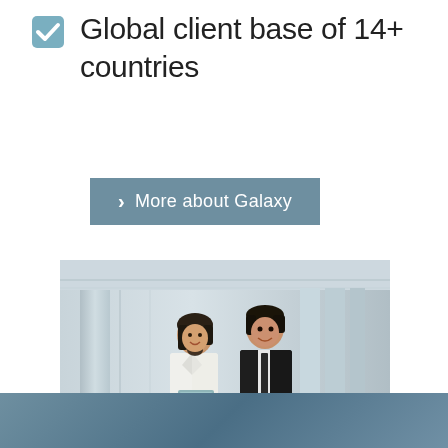Global client base of 14+ countries
More about Galaxy
[Figure (photo): Two business professionals, a woman in a white blazer holding a folder and a man in a black suit, walking together in an office corridor and talking.]